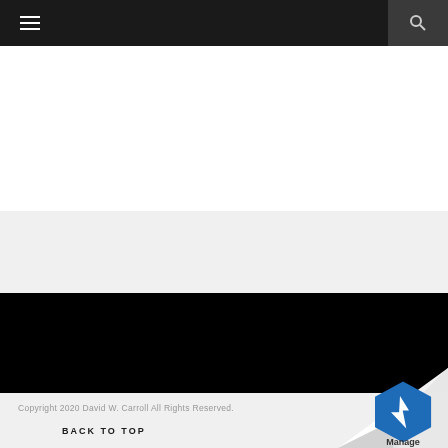≡  🔍
Copyright 2020 David W. Carroll All Rights Reserved.
BACK TO TOP
[Figure (logo): ManageWP blue hexagon logo with page curl effect in lower right corner]